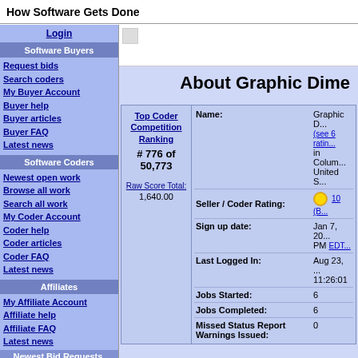How Software Gets Done
Login
Software Buyers
Request bids
Search coders
My Buyer Account
Buyer help
Buyer articles
Buyer FAQ
Latest news
Software Coders
Newest open work
Browse all work
Search all work
My Coder Account
Coder help
Coder articles
Coder FAQ
Latest news
Affiliates
My Affiliate Account
Affiliate help
Affiliate FAQ
Latest news
Newest Bid Requests.
(See all)
A number purzzle
By Sam_B on Aug 25
Max Bid: $20
FLASH MAGAZINE
By RAESE on Aug 24
Max Bid: $350
About Graphic Dime
| Field | Value |
| --- | --- |
| Name: | Graphic D... (see 6 ratings) in Colum... United S... |
| Seller / Coder Rating: | 10 (B...) |
| Sign up date: | Jan 7, 20... PM EDT... |
| Last Logged In: | Aug 23, ... 11:26:01 |
| Jobs Started: | 6 |
| Jobs Completed: | 6 |
| Missed Status Report Warnings Issued: | 0 |
Top Coder Competition Ranking # 776 of 50,773
Raw Score Total: 1,640.00